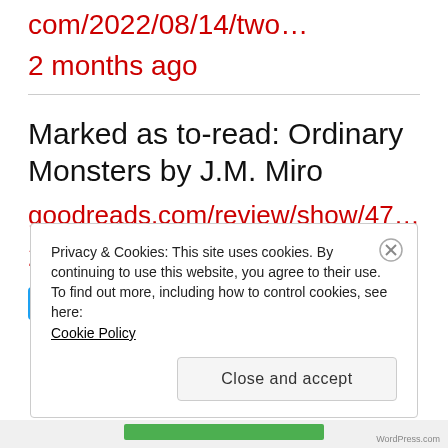com/2022/08/14/two…
2 months ago
Marked as to-read: Ordinary Monsters by J.M. Miro
goodreads.com/review/show/47…
2 months ago
Follow @AmyLillard019
Privacy & Cookies: This site uses cookies. By continuing to use this website, you agree to their use.
To find out more, including how to control cookies, see here: Cookie Policy
Close and accept